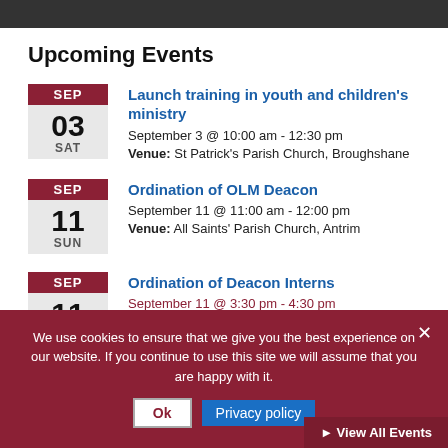[Figure (photo): Partial photo bar at top of page]
Upcoming Events
SEP 03 SAT - Launch training in youth and children's ministry - September 3 @ 10:00 am - 12:30 pm - Venue: St Patrick's Parish Church, Broughshane
SEP 11 SUN - Ordination of OLM Deacon - September 11 @ 11:00 am - 12:00 pm - Venue: All Saints' Parish Church, Antrim
SEP 11 - Ordination of Deacon Interns - September 11 @ 3:30 pm - 4:30 pm
We use cookies to ensure that we give you the best experience on our website. If you continue to use this site we will assume that you are happy with it.
Ok | Privacy policy